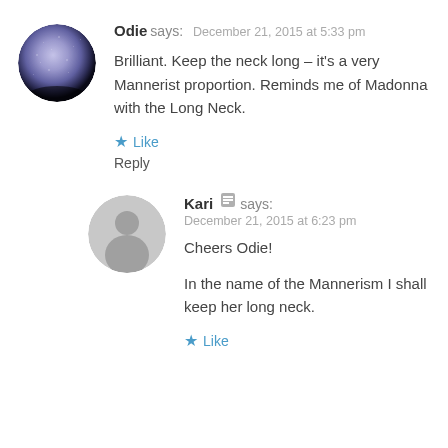[Figure (photo): Round avatar image of Odie, showing a purple/blue textured sphere on dark background]
Odie says: December 21, 2015 at 5:33 pm
Brilliant. Keep the neck long – it's a very Mannerist proportion. Reminds me of Madonna with the Long Neck.
★ Like
Reply
[Figure (illustration): Generic gray avatar with person silhouette for Kari]
Kari [edit] says: December 21, 2015 at 6:23 pm
Cheers Odie!
In the name of the Mannerism I shall keep her long neck.
★ Like